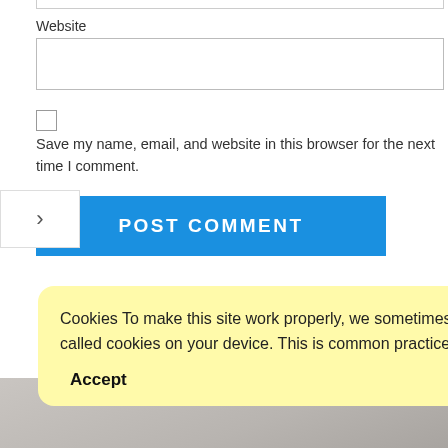Website
Save my name, email, and website in this browser for the next time I comment.
POST COMMENT
Cookies To make this site work properly, we sometimes place small data files called cookies on your device. This is common practice with most websites
Accept
Read more